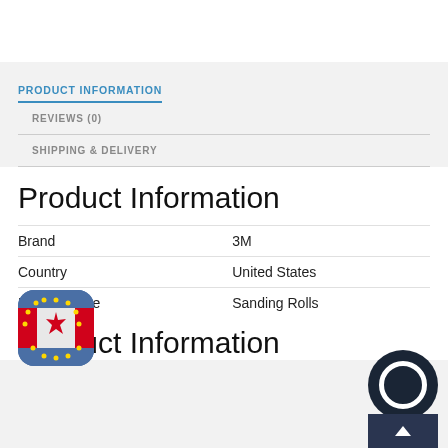PRODUCT INFORMATION
REVIEWS (0)
SHIPPING & DELIVERY
Product Information
| Brand | 3M |
| Country | United States |
| Product Type | Sanding Rolls |
Product Information